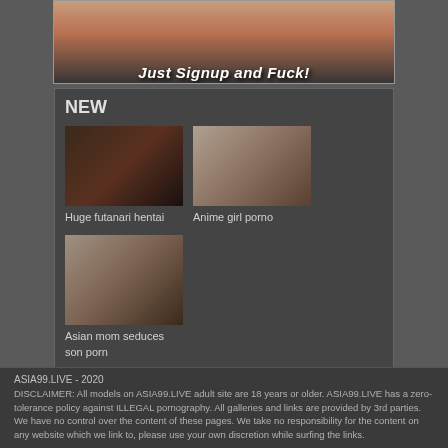[Figure (illustration): Banner advertisement with text 'Just Signup and Fuck!']
NEW
[Figure (photo): Thumbnail image - Huge futanari hentai]
Huge futanari hentai
[Figure (photo): Thumbnail image - Anime girl porno]
Anime girl porno
[Figure (photo): Thumbnail image - Asian mom seduces son porn]
Asian mom seduces son porn
ASIA99.LIVE - 2020 DISCLAIMER: All models on ASIA99.LIVE adult site are 18 years or older. ASIA99.LIVE has a zero-tolerance policy against ILLEGAL pornography. All galleries and links are provided by 3rd parties. We have no control over the content of these pages. We take no responsibility for the content on any website which we link to, please use your own discretion while surfing the links.